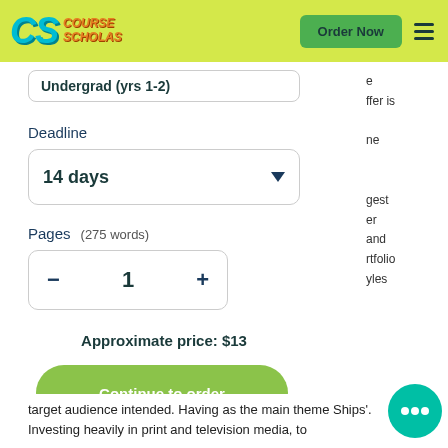CS Course Scholars — Order Now
Undergrad (yrs 1-2)
Deadline
14 days
Pages (275 words)
1
Approximate price: $13
Continue to order
target audience intended. Having as the main theme Ships'. Investing heavily in print and television media, to